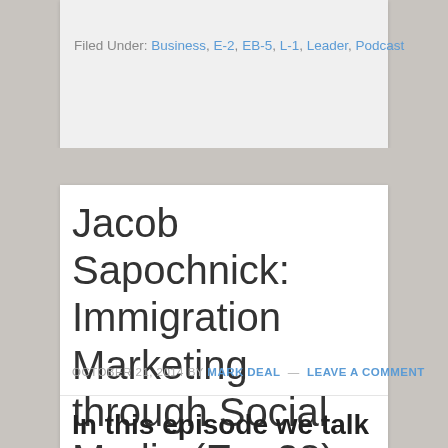Filed Under: Business, E-2, EB-5, L-1, Leader, Podcast
Jacob Sapochnick: Immigration Marketing through Social Media (Ep. 28)
OCTOBER 21, 2014 BY MARK DEAL — LEAVE A COMMENT
In this episode we talk